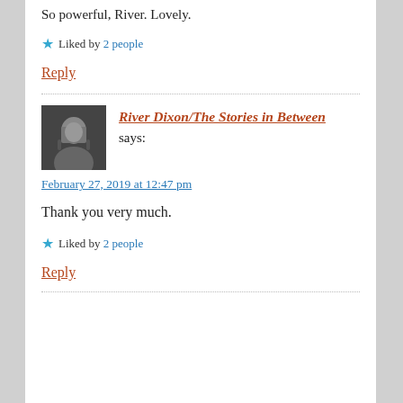So powerful, River. Lovely.
Liked by 2 people
Reply
River Dixon/The Stories in Between says:
February 27, 2019 at 12:47 pm
Thank you very much.
Liked by 2 people
Reply